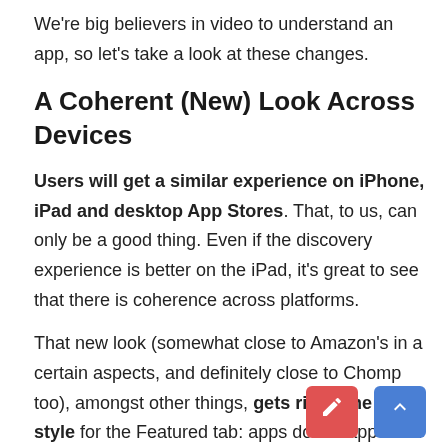We're big believers in video to understand an app, so let's take a look at these changes.
A Coherent (New) Look Across Devices
Users will get a similar experience on iPhone, iPad and desktop App Stores. That, to us, can only be a good thing. Even if the discovery experience is better on the iPad, it's great to see that there is coherence across platforms.
That new look (somewhat close to Amazon's in a certain aspects, and definitely close to Chomp too), amongst other things, gets rid of the list style for the Featured tab: apps do not appear in a list anymore, and users horizontally move the row of icons.
Search results display “Cards” for each apps, and that